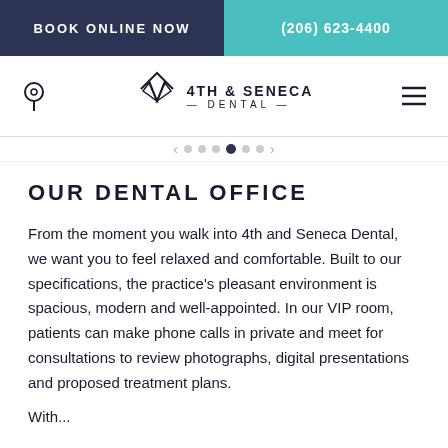BOOK ONLINE NOW | (206) 623-4400
[Figure (logo): 4th & Seneca Dental logo with geometric diamond/mountain icon and location pin icon and hamburger menu icon]
OUR DENTAL OFFICE
From the moment you walk into 4th and Seneca Dental, we want you to feel relaxed and comfortable. Built to our specifications, the practice's pleasant environment is spacious, modern and well-appointed. In our VIP room, patients can make phone calls in private and meet for consultations to review photographs, digital presentations and proposed treatment plans.
With...